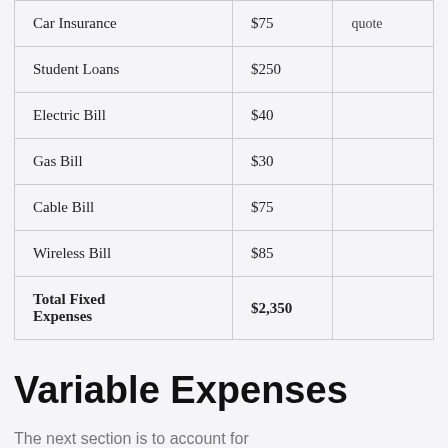|  |  |  |
| --- | --- | --- |
| Car Insurance | $75 | quote |
| Student Loans | $250 |  |
| Electric Bill | $40 |  |
| Gas Bill | $30 |  |
| Cable Bill | $75 |  |
| Wireless Bill | $85 |  |
| Total Fixed Expenses | $2,350 |  |
Variable Expenses
The next section is to account for